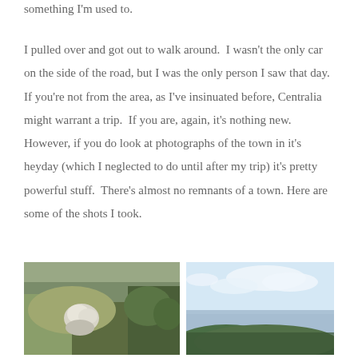something I'm used to.
I pulled over and got out to walk around.  I wasn't the only car on the side of the road, but I was the only person I saw that day.  If you're not from the area, as I've insinuated before, Centralia might warrant a trip.  If you are, again, it's nothing new.  However, if you do look at photographs of the town in it's heyday (which I neglected to do until after my trip) it's pretty powerful stuff.  There's almost no remnants of a town. Here are some of the shots I took.
[Figure (photo): Overgrown vegetation with white flowers and rocky terrain on a hillside]
[Figure (photo): Blue sky with light clouds over green forested hills]